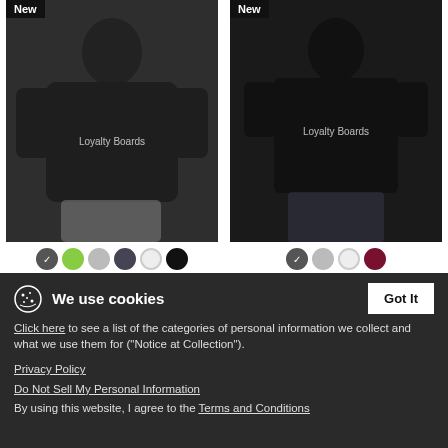[Figure (photo): Woman wearing dark grey loose fit t-shirt with Loyalty Boards logo, New badge top left]
[Figure (photo): Woman wearing black relaxed fit t-shirt with Loyalty Boards logo, New badge top left]
Loyalty Boards White Font With Board - Women's Flowy T-Shirt
$27.49
Loyalty Boards White Font With Board - Women's Relaxed Fit T-Shirt
$22.49
We use cookies
Click here to see a list of the categories of personal information we collect and what we use them for ("Notice at Collection").
Privacy Policy
Do Not Sell My Personal Information
By using this website, I agree to the Terms and Conditions